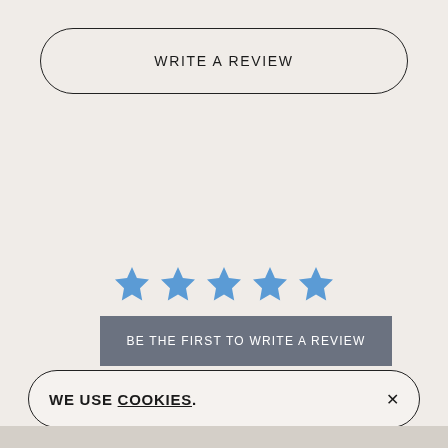WRITE A REVIEW
[Figure (other): Five blue star icons in a row representing a 5-star rating display]
BE THE FIRST TO WRITE A REVIEW
WE USE COOKIES.